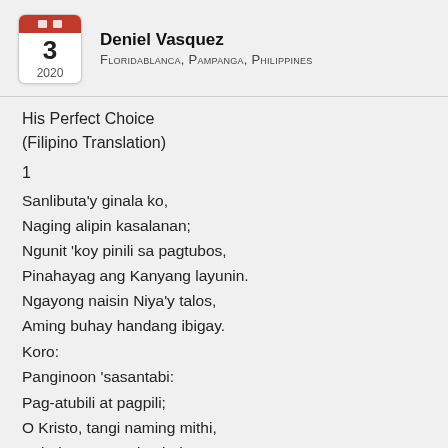[Figure (illustration): Calendar icon showing the number 3 and year 2020, with a red header bar containing two small squares.]
Deniel Vasquez
Floridablanca, Pampanga, Philippines
His Perfect Choice
(Filipino Translation)
1
Sanlibuta'y ginala ko,
Naging alipin kasalanan;
Ngunit 'koy pinili sa pagtubos,
Pinahayag ang Kanyang layunin.
Ngayong naisin Niya'y talos,
Aming buhay handang ibigay.
Koro:
Panginoon 'sasantabi:
Pag-atubili at pagpili;
O Kristo, tangi naming mithi,
Kahulugan sa 'ming buhay;
Iyong layunin ay kamtin, tupdin;
Mabuting lupa'y tunguhin.